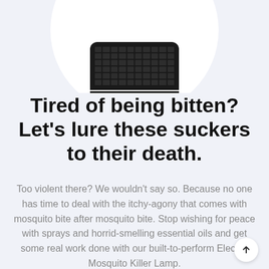[Figure (photo): Black cylindrical Electric Mosquito Killer Lamp product photo shown from above on a white circular background, cropped at top of page]
Tired of being bitten? Let’s lure these suckers to their death.
Too violent there? We wouldn’t say so. Because no one has time to deal with the itchy-agony that comes with mosquito bite after mosquito bite. Stop wishing for peace with sprays and horrid-smelling essential oils and get some real work done with our built-to-perform Electric Mosquito Killer Lamp.